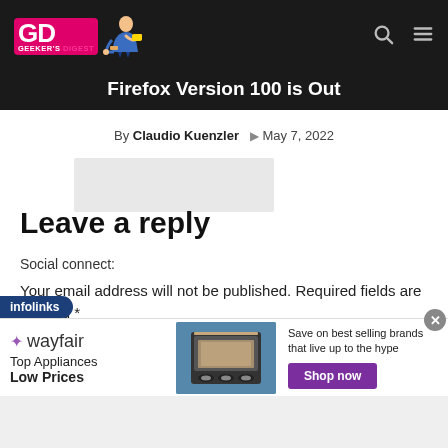Geeker's Digest - site header with logo and navigation icons
Firefox Version 100 is Out
By Claudio Kuenzler  May 7, 2022
[Figure (photo): Blurred/placeholder image area]
Leave a reply
Social connect:
Your email address will not be published. Required fields are marked *
[Figure (other): Infolinks advertisement banner with Wayfair ad showing Top Appliances Low Prices with Shop now button]